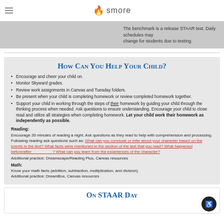smore
The benchmark is a release STAAR test. Daily schedules may change for students due to testing.
How Can You Help Your Child?
Encourage and cheer your child on.
Monitor Skyward grades.
Review work assignments in Canvas and Tuesday folders.
Be present when your child is completing homework or review completed homework together.
Support your child in working through the steps of their homework by guiding your child through the thinking process when needed. Ask questions to ensure understanding. Encourage your child to close read and utilize all strategies when completing homework. Let your child work their homework as independently as possible.
Reading:
Encourage 20 minutes of reading a night. Ask questions as they read to help with comprehension and processing. Following reading ask questions such as: What can you conclude or infer about your character based on the events in the text? What facts were mentioned in the section of the text that you read? What happened before/after _________? What can you learn from the experiences of the character?
Additional practice: Dreamscape/Reading Plus, Canvas resources
Math:
Know your math facts (addition, subtraction, multiplication, and division).
Additional practice: DreamBox, Canvas resources
On STAAR Day